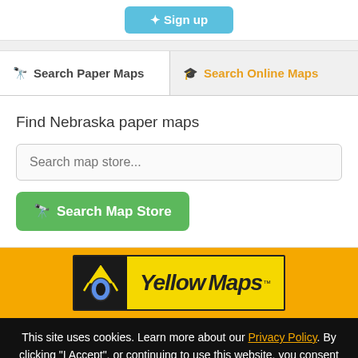[Figure (screenshot): Sign up button (blue, partially visible at top)]
Search Paper Maps
Search Online Maps
Find Nebraska paper maps
Search map store...
Search Map Store
[Figure (logo): YellowMaps logo on orange/yellow background]
This site uses cookies. Learn more about our Privacy Policy. By clicking "I Accept", or continuing to use this website, you consent to the use of cookies.
I Accept